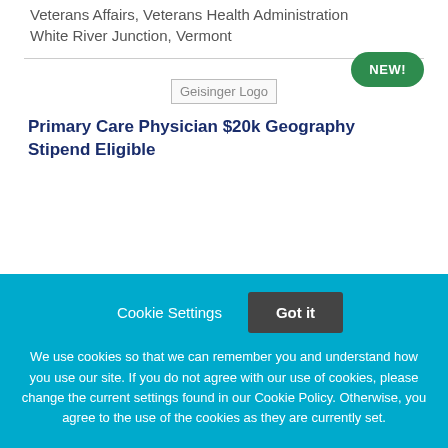Veterans Affairs, Veterans Health Administration
White River Junction, Vermont
[Figure (logo): Geisinger Logo placeholder image]
Primary Care Physician $20k Geography Stipend Eligible
Cookie Settings   Got it

We use cookies so that we can remember you and understand how you use our site. If you do not agree with our use of cookies, please change the current settings found in our Cookie Policy. Otherwise, you agree to the use of the cookies as they are currently set.